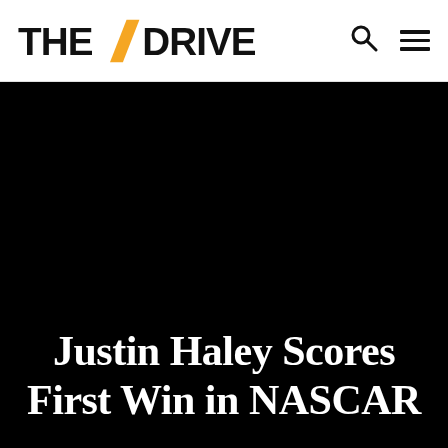THE DRIVE
[Figure (photo): Large black hero image background for article about Justin Haley's first NASCAR win]
Justin Haley Scores First Win in NASCAR